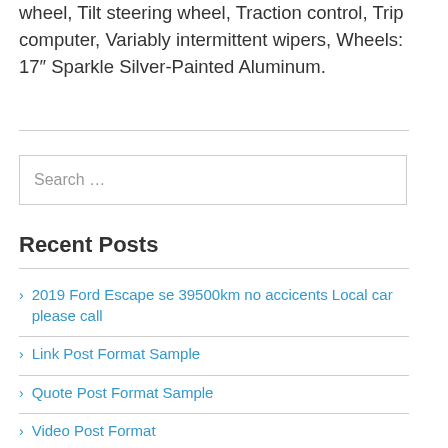wheel, Tilt steering wheel, Traction control, Trip computer, Variably intermittent wipers, Wheels: 17″ Sparkle Silver-Painted Aluminum.
Search …
Recent Posts
2019 Ford Escape se 39500km no accicents Local car please call
Link Post Format Sample
Quote Post Format Sample
Video Post Format